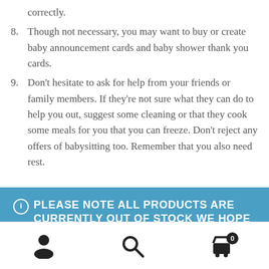correctly.
8. Though not necessary, you may want to buy or create baby announcement cards and baby shower thank you cards.
9. Don't hesitate to ask for help from your friends or family members. If they're not sure what they can do to help you out, suggest some cleaning or that they cook some meals for you that you can freeze. Don't reject any offers of babysitting too. Remember that you also need rest.
PLEASE NOTE ALL PRODUCTS ARE CURRENTLY OUT OF STOCK WE HOPE TO HAVE MORE STOCK SHORTLY! Dismiss